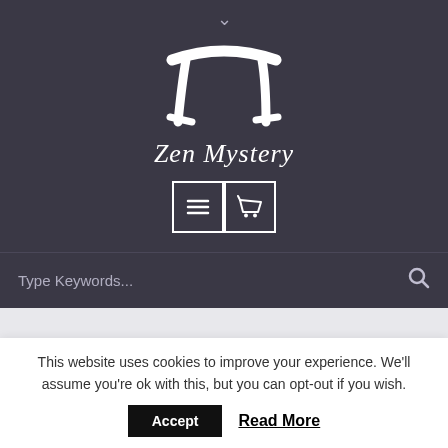[Figure (logo): Zen Mystery logo — stylized torii gate drawn in white brushstroke style above cursive 'Zen Mystery' text, on dark purple-gray background]
[Figure (screenshot): Two icon buttons: hamburger menu icon and shopping cart icon, both white on dark background with white border]
Type Keywords...
This website uses cookies to improve your experience. We'll assume you're ok with this, but you can opt-out if you wish.
Accept
Read More